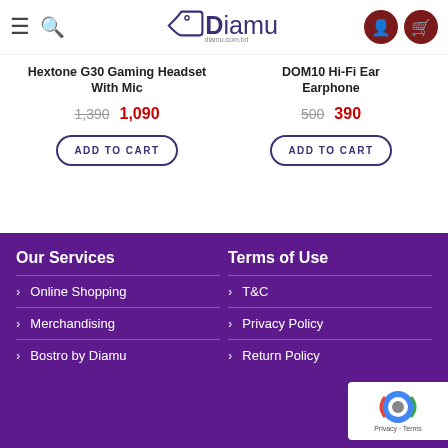Diamu - diamu.com.bd
Hextone G30 Gaming Headset with Mic — old price: 1,390 new price: 1,090
DOM10 Hi-Fi Ear Earphone — old price: 500 new price: 390
Our Services
Online Shopping
Merchandising
Bostro by Diamu
Terms of Use
T&C
Privacy Policy
Return Policy